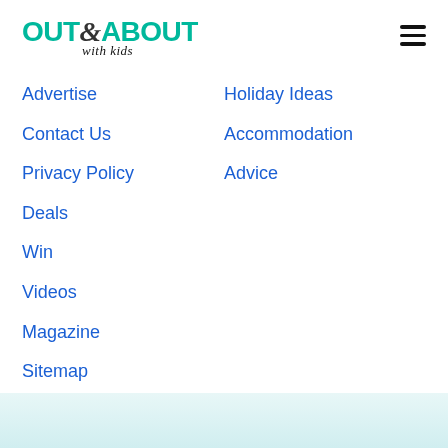OUT & ABOUT with kids
Advertise
Contact Us
Privacy Policy
Deals
Win
Videos
Magazine
Sitemap
Holiday Ideas
Accommodation
Advice